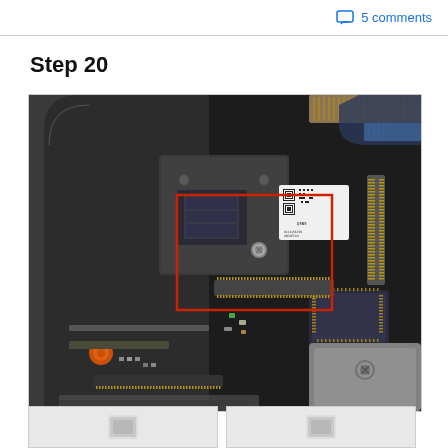5 comments
Step 20
[Figure (photo): Close-up photo of iPhone internal PCB/logic board showing components with a red rectangle highlight box marking a specific chip area near connector pins. Visible are gold-contact flat flex connectors, QR code sticker, various SMD components, and circuit board traces.]
[Figure (photo): Thumbnail image 1 of step 20]
[Figure (photo): Thumbnail image 2 of step 20]